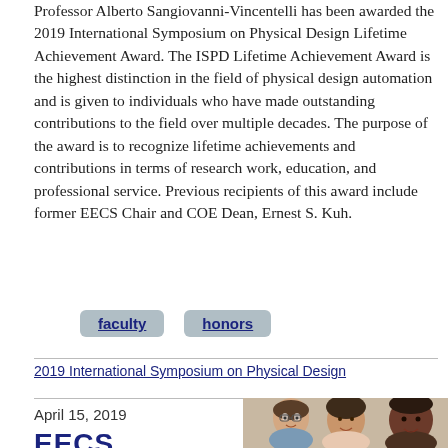Professor Alberto Sangiovanni-Vincentelli has been awarded the 2019 International Symposium on Physical Design Lifetime Achievement Award. The ISPD Lifetime Achievement Award is the highest distinction in the field of physical design automation and is given to individuals who have made outstanding contributions to the field over multiple decades. The purpose of the award is to recognize lifetime achievements and contributions in terms of research work, education, and professional service. Previous recipients of this award include former EECS Chair and COE Dean, Ernest S. Kuh.
faculty
honors
2019 International Symposium on Physical Design
April 15, 2019
EECS
[Figure (photo): Three women smiling, photographed together at an indoor event.]